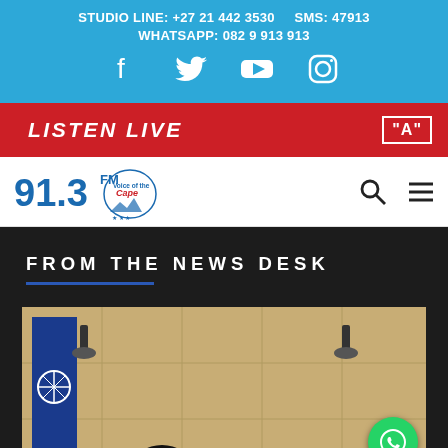STUDIO LINE: +27 21 442 3530   SMS: 47913   WHATSAPP: 082 9 913 913
[Figure (logo): Social media icons: Facebook, Twitter, YouTube, Instagram on blue background]
LISTEN LIVE
[Figure (logo): 91.3 FM Voice of the Cape radio station logo]
FROM THE NEWS DESK
[Figure (photo): News photo showing a person at what appears to be a formal meeting or press conference, with a NATO flag visible and yellow tiled wall in background]